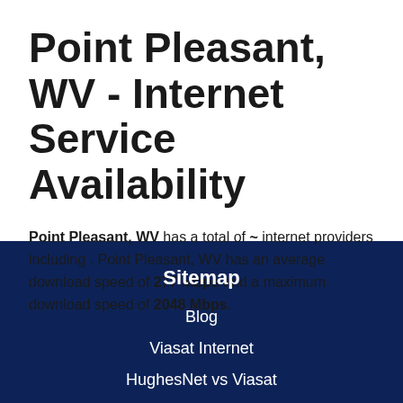Point Pleasant, WV - Internet Service Availability
Point Pleasant, WV has a total of ~ internet providers including . Point Pleasant, WV has an average download speed of 277 Mbps and a maximum download speed of 2048 Mbps.
Sitemap
Blog
Viasat Internet
HughesNet vs Viasat